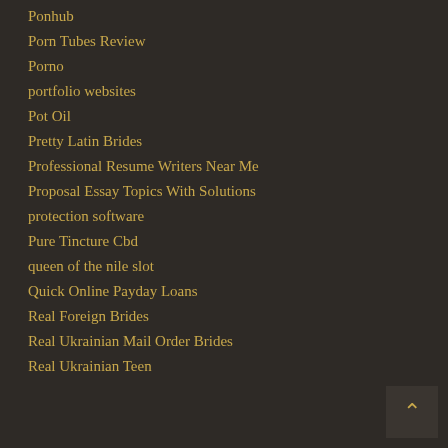Ponhub
Porn Tubes Review
Porno
portfolio websites
Pot Oil
Pretty Latin Brides
Professional Resume Writers Near Me
Proposal Essay Topics With Solutions
protection software
Pure Tincture Cbd
queen of the nile slot
Quick Online Payday Loans
Real Foreign Brides
Real Ukrainian Mail Order Brides
Real Ukrainian Teen